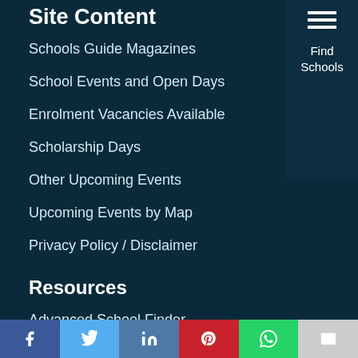Site Content
Schools Guide Magazines
School Events and Open Days
Enrolment Vacancies Available
Scholarship Days
Other Upcoming Events
Upcoming Events by Map
Privacy Policy / Disclaimer
Resources
Advanced School Finder
Advertising